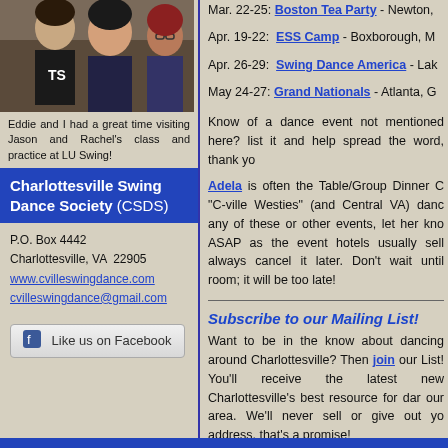[Figure (photo): Three people posing together at LU Swing event]
Eddie and I had a great time visiting Jason and Rachel's class and practice at LU Swing!
Charlottesville Swing Dance Society (CSDS)
P.O. Box 4442
Charlottesville, VA 22905
www.cvilleswingdance.com
cvilleswingdance@gmail.com
Like us on Facebook
Mar. 22-25: Boston Tea Party - Newton,
Apr. 19-22: ESS Camp - Boxborough, M
Apr. 26-29: Swing Dance America - Lak
May 24-27: Grand Nationals - Atlanta, G
Know of a dance event not mentioned here? list it and help spread the word, thank yo
Adela is often the Table/Group Dinner C "C-ville Westies" (and Central VA) danc any of these or other events, let her kno ASAP as the event hotels usually sell always cancel it later. Don't wait until room; it will be too late!
Subscribe to our Mailing List!
Want to be in the know about dancing around Charlottesville? Then join our List! You'll receive the latest new Charlottesville's best resource for dar our area. We'll never sell or give out yo address, that's a promise!
Interested in being a member of C equivalent of 4 Starbucks coffees!) and put on monthly dances, workshops, S dance practice) and gives you a $3 disc